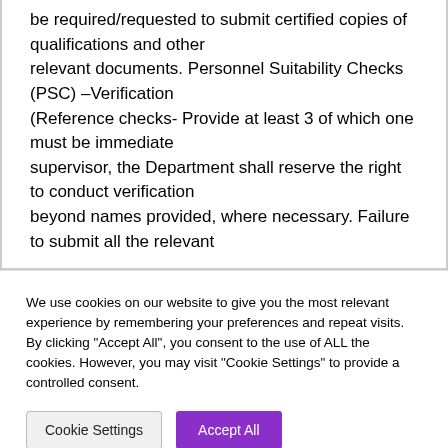be required/requested to submit certified copies of qualifications and other relevant documents. Personnel Suitability Checks (PSC) –Verification (Reference checks- Provide at least 3 of which one must be immediate supervisor, the Department shall reserve the right to conduct verification beyond names provided, where necessary. Failure to submit all the relevant
We use cookies on our website to give you the most relevant experience by remembering your preferences and repeat visits. By clicking "Accept All", you consent to the use of ALL the cookies. However, you may visit "Cookie Settings" to provide a controlled consent.
Cookie Settings | Accept All